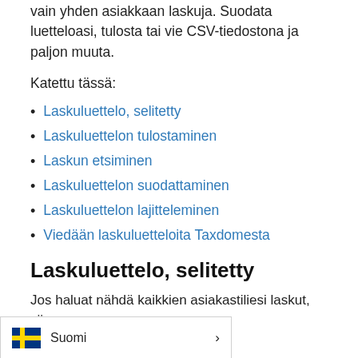vain yhden asiakkaan laskuja. Suodata luetteloasi, tulosta tai vie CSV-tiedostona ja paljon muuta.
Katettu tässä:
Laskuluettelo, selitetty
Laskuluettelon tulostaminen
Laskun etsiminen
Laskuluettelon suodattaminen
Laskuluettelon lajitteleminen
Viedään laskuluetteloita Taxdomesta
Laskuluettelo, selitetty
Jos haluat nähdä kaikkien asiakastiliesi laskut, siirry Laskut-osioon.